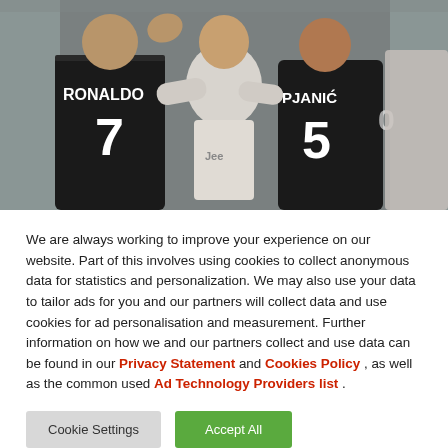[Figure (photo): Football players celebrating, including players wearing Juventus black jerseys with 'RONALDO 7' and 'PJANIĆ 5' on the back]
We are always working to improve your experience on our website. Part of this involves using cookies to collect anonymous data for statistics and personalization. We may also use your data to tailor ads for you and our partners will collect data and use cookies for ad personalisation and measurement. Further information on how we and our partners collect and use data can be found in our Privacy Statement and Cookies Policy , as well as the common used Ad Technology Providers list .
Cookie Settings | Accept All